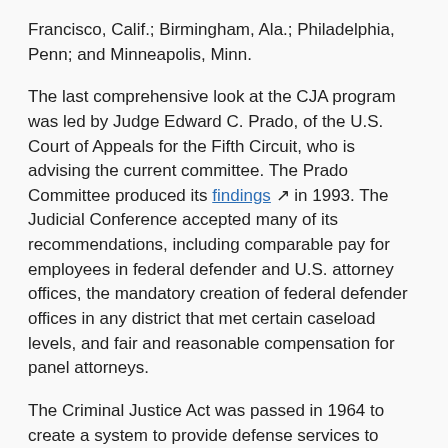Francisco, Calif.; Birmingham, Ala.; Philadelphia, Penn; and Minneapolis, Minn.
The last comprehensive look at the CJA program was led by Judge Edward C. Prado, of the U.S. Court of Appeals for the Fifth Circuit, who is advising the current committee. The Prado Committee produced its findings in 1993. The Judicial Conference accepted many of its recommendations, including comparable pay for employees in federal defender and U.S. attorney offices, the mandatory creation of federal defender offices in any district that met certain caseload levels, and fair and reasonable compensation for panel attorneys.
The Criminal Justice Act was passed in 1964 to create a system to provide defense services to financially eligible criminal defendants. The vast majority of criminal defendants cannot afford to hire attorneys themselves and are represented by court-appointed counsel.